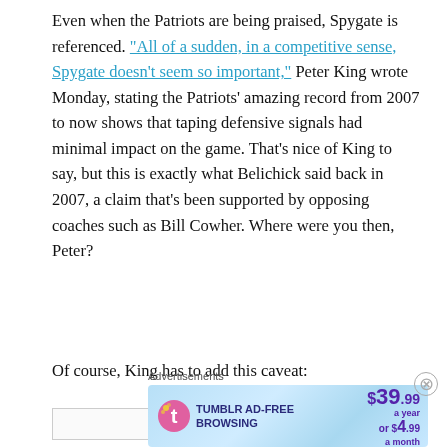Even when the Patriots are being praised, Spygate is referenced. "All of a sudden, in a competitive sense, Spygate doesn’t seem so important," Peter King wrote Monday, stating the Patriots’ amazing record from 2007 to now shows that taping defensive signals had minimal impact on the game. That’s nice of King to say, but this is exactly what Belichick said back in 2007, a claim that’s been supported by opposing coaches such as Bill Cowher. Where were you then, Peter?
Of course, King has to add this caveat:
[Figure (other): Tumblr Ad-Free Browsing advertisement banner: $39.99 a year or $4.99 a month]